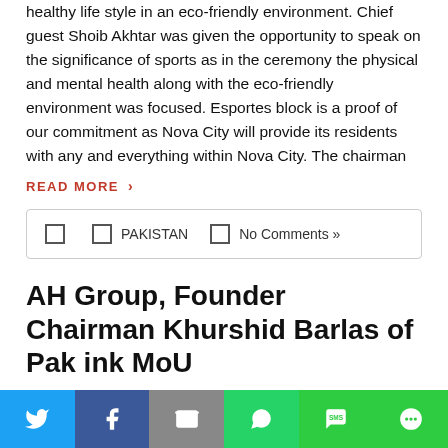healthy life style in an eco-friendly environment. Chief guest Shoib Akhtar was given the opportunity to speak on the significance of sports as in the ceremony the physical and mental health along with the eco-friendly environment was focused. Esportes block is a proof of our commitment as Nova City will provide its residents with any and everything within Nova City. The chairman
READ MORE ›
□  □ PAKISTAN  □ No Comments »
AH Group, Founder Chairman Khurshid Barlas of Pak ink MoU
DNA News | January 10, 2022
DNA
Twitter | Facebook | Email | WhatsApp | SMS | More